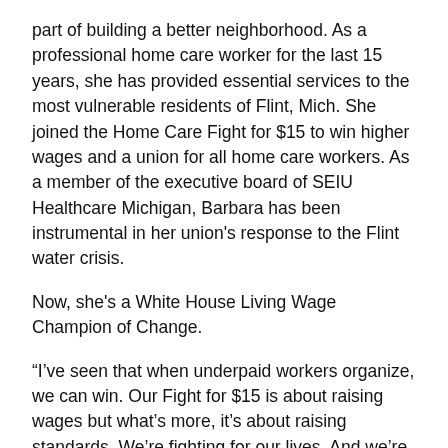part of building a better neighborhood. As a professional home care worker for the last 15 years, she has provided essential services to the most vulnerable residents of Flint, Mich. She joined the Home Care Fight for $15 to win higher wages and a union for all home care workers. As a member of the executive board of SEIU Healthcare Michigan, Barbara has been instrumental in her union's response to the Flint water crisis.
Now, she's a White House Living Wage Champion of Change.
“I’ve seen that when underpaid workers organize, we can win. Our Fight for $15 is about raising wages but what’s more, it’s about raising standards. We’re fighting for our lives. And we’re not going to let anything stand in our way. We know we can overcome any challenge by standing together,” Carr said.